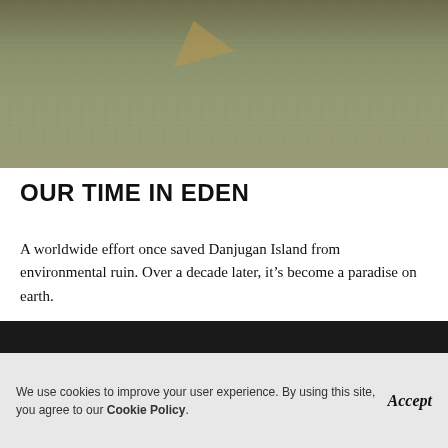[Figure (photo): Aerial or close-up photo of water with what appears to be a wooden boat or debris floating near a shoreline, with rippling water surface visible.]
OUR TIME IN EDEN
A worldwide effort once saved Danjugan Island from environmental ruin. Over a decade later, it’s become a paradise on earth.
Read More
We use cookies to improve your user experience. By using this site, you agree to our Cookie Policy.   Accept